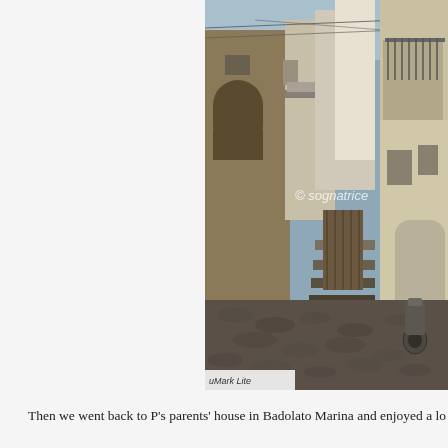[Figure (photo): A narrow cobblestone alley in an Italian village (Badolato), flanked by old stone and plaster buildings with balconies, steps, and a scooter visible at right. Watermark '© sognatrice' in center and 'uMark Lite' at bottom left.]
Then we went back to P's parents' house in Badolato Marina and enjoyed a lo...